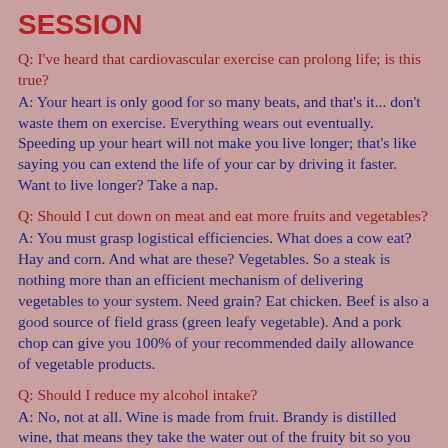SESSION
Q: I've heard that cardiovascular exercise can prolong life; is this true?
A: Your heart is only good for so many beats, and that's it... don't waste them on exercise. Everything wears out eventually. Speeding up your heart will not make you live longer; that's like saying you can extend the life of your car by driving it faster. Want to live longer? Take a nap.
Q: Should I cut down on meat and eat more fruits and vegetables?
A: You must grasp logistical efficiencies. What does a cow eat? Hay and corn. And what are these? Vegetables. So a steak is nothing more than an efficient mechanism of delivering vegetables to your system. Need grain? Eat chicken. Beef is also a good source of field grass (green leafy vegetable). And a pork chop can give you 100% of your recommended daily allowance of vegetable products.
Q: Should I reduce my alcohol intake?
A: No, not at all. Wine is made from fruit. Brandy is distilled wine, that means they take the water out of the fruity bit so you get even